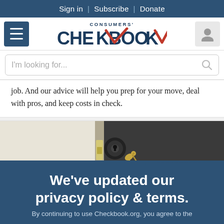Sign in | Subscribe | Donate
[Figure (logo): Consumers' Checkbook logo with red checkmark]
I'm looking for...
job. And our advice will help you prep for your move, deal with pros, and keep costs in check.
[Figure (photo): Close-up photo of a door lock with keys inserted]
We've updated our privacy policy & terms.
By continuing to use Checkbook.org, you agree to the